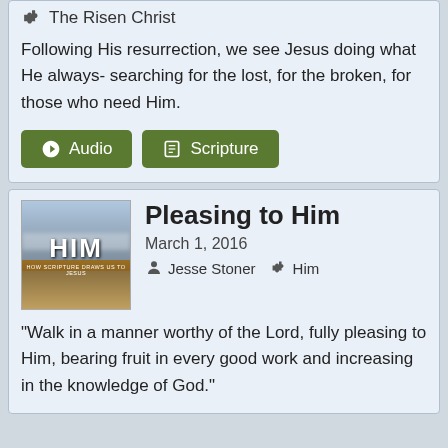The Risen Christ
Following His resurrection, we see Jesus doing what He always- searching for the lost, for the broken, for those who need Him.
Audio
Scripture
Pleasing to Him
March 1, 2016
Jesse Stoner   Him
“Walk in a manner worthy of the Lord, fully pleasing to Him, bearing fruit in every good work and increasing in the knowledge of God.”